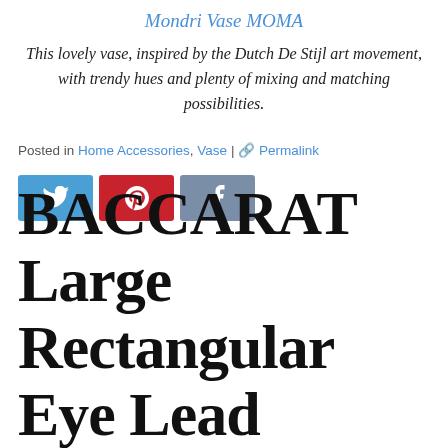Mondri Vase MOMA
This lovely vase, inspired by the Dutch De Stijl art movement, with trendy hues and plenty of mixing and matching possibilities.
Posted in Home Accessories, Vase | 🔗 Permalink
[Figure (other): Social share buttons: Twitter (blue), Pinterest (red), Facebook (grey)]
BACCARAT Large Rectangular Eye Lead